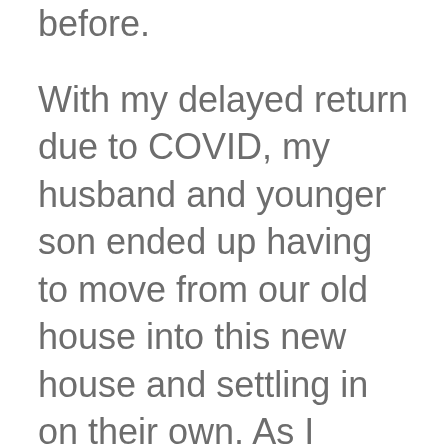before.
With my delayed return due to COVID, my husband and younger son ended up having to move from our old house into this new house and settling in on their own. As I landed after two days of traveling and connecting flights I felt a “uni-focused” vision that led me to finish moving in. It took four days of 9 physical working hours to settle in: hanging paintings, hanging shelves, cleaning closets, unpacking boxes, finding